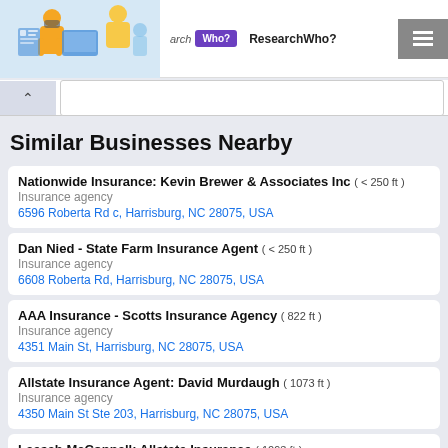[Figure (screenshot): Website header with illustration of people using computers, navigation with 'arch', 'Who?' button in purple, 'ResearchWho?' text, and a gray icon button]
Similar Businesses Nearby
Nationwide Insurance: Kevin Brewer & Associates Inc ( < 250 ft ) — Insurance agency — 6596 Roberta Rd c, Harrisburg, NC 28075, USA
Dan Nied - State Farm Insurance Agent ( < 250 ft ) — Insurance agency — 6608 Roberta Rd, Harrisburg, NC 28075, USA
AAA Insurance - Scotts Insurance Agency ( 822 ft ) — Insurance agency — 4351 Main St, Harrisburg, NC 28075, USA
Allstate Insurance Agent: David Murdaugh ( 1073 ft ) — Insurance agency — 4350 Main St Ste 203, Harrisburg, NC 28075, USA
Leesah McConnell: Allstate Insurance ( 1093 ft ) — Insurance agency — 4350 Main St Ste 203, Harrisburg, NC 28075, USA